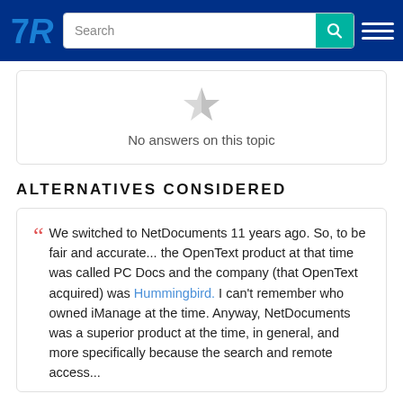TrustRadius navigation bar with logo, search field, and hamburger menu
[Figure (illustration): Grey star icon indicating no answers]
No answers on this topic
ALTERNATIVES CONSIDERED
We switched to NetDocuments 11 years ago. So, to be fair and accurate... the OpenText product at that time was called PC Docs and the company (that OpenText acquired) was Hummingbird. I can't remember who owned iManage at the time. Anyway, NetDocuments was a superior product at the time, in general, and more specifically because the search and remote access...